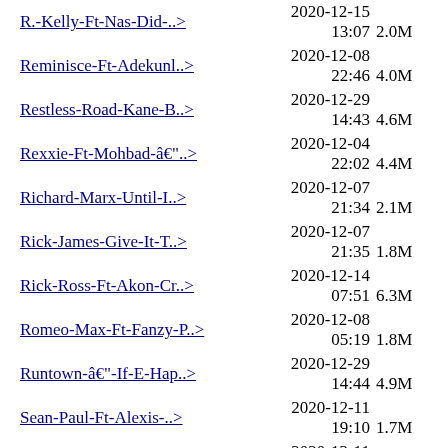R.-Kelly-Ft-Nas-Did-..> 2020-12-15 13:07 2.0M
Reminisce-Ft-Adekunl..> 2020-12-08 22:46 4.0M
Restless-Road-Kane-B..> 2020-12-29 14:43 4.6M
Rexxie-Ft-Mohbad-â€"..> 2020-12-04 22:02 4.4M
Richard-Marx-Until-I..> 2020-12-07 21:34 2.1M
Rick-James-Give-It-T..> 2020-12-07 21:35 1.8M
Rick-Ross-Ft-Akon-Cr..> 2020-12-14 07:51 6.3M
Romeo-Max-Ft-Fanzy-P..> 2020-12-08 05:19 1.8M
Runtown-â€"-If-E-Hap..> 2020-12-29 14:44 4.9M
Sean-Paul-Ft-Alexis-..> 2020-12-11 19:10 1.7M
Sean-Paul-Ft-Kelly-R..> 2020-12-11 19:11 1.7M
... 2020-12-21